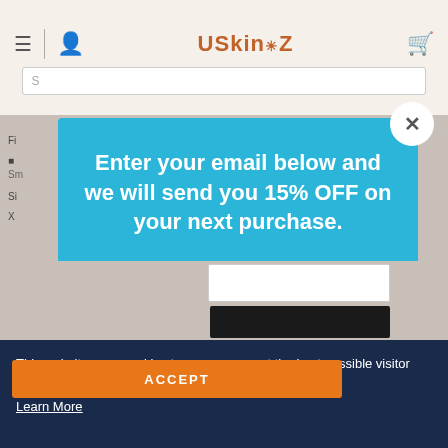[Figure (screenshot): USkinz website header with hamburger menu, user icon, logo, and cart icon, plus a search bar below]
Enter your email below and we will send you 15% OFF on your next purchase.
This website uses cookies to ensure you get the best possible visitor experience.
Learn More
ACCEPT
Share
Was this helpful? 0 0